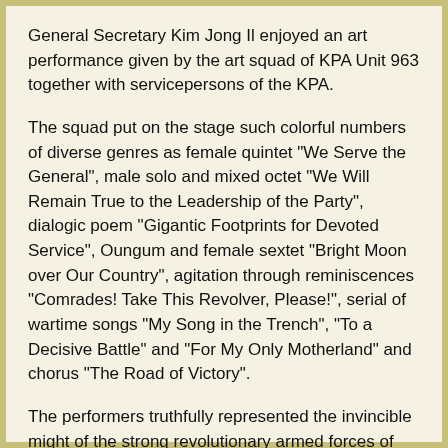General Secretary Kim Jong Il enjoyed an art performance given by the art squad of KPA Unit 963 together with servicepersons of the KPA.
The squad put on the stage such colorful numbers of diverse genres as female quintet "We Serve the General", male solo and mixed octet "We Will Remain True to the Leadership of the Party", dialogic poem "Gigantic Footprints for Devoted Service", Oungum and female sextet "Bright Moon over Our Country", agitation through reminiscences "Comrades! Take This Revolver, Please!", serial of wartime songs "My Song in the Trench", "To a Decisive Battle" and "For My Only Motherland" and chorus "The Road of Victory".
The performers truthfully represented the invincible might of the strong revolutionary armed forces of Mt. Paektu which grew up to be a matchless army under the care of Kim Jong Il and the firm faith and will of the servicepersons